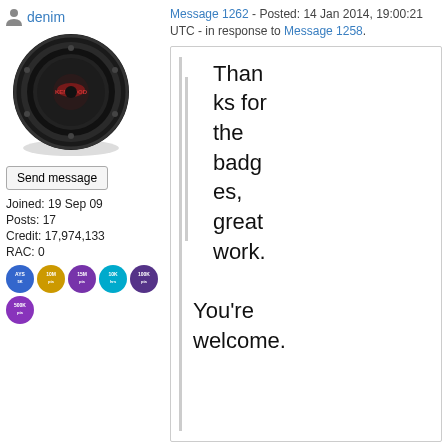denim
[Figure (photo): Avatar image of a car subwoofer speaker (black circular woofer with red branding)]
Send message
Joined: 19 Sep 09
Posts: 17
Credit: 17,974,133
RAC: 0
[Figure (illustration): Row of 6 circular badges in blue, gold, purple, cyan, dark purple, and purple colors with small white text]
Message 1262 - Posted: 14 Jan 2014, 19:00:21 UTC - in response to Message 1258.
Thanks for the badges, great work.

You're welcome.